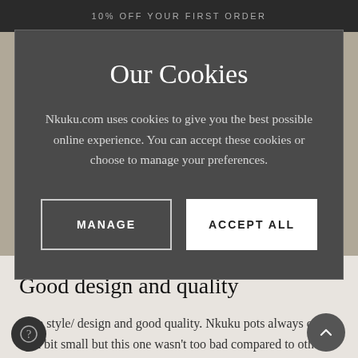10% OFF YOUR FIRST ORDER
Our Cookies
Nkuku.com uses cookies to give you the best possible online experience. You can accept these cookies or choose to manage your preferences.
MANAGE
ACCEPT ALL
Good design and quality
Nice style/ design and good quality. Nkuku pots always come up a bit small but this one wasn't too bad compared to othe Heavy so needs consideration on where it is put.